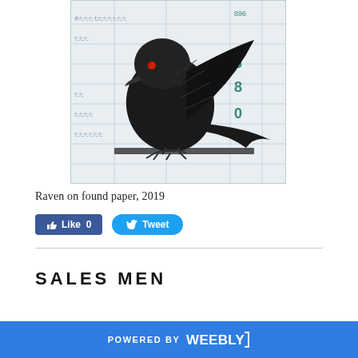[Figure (illustration): A detailed drawing of a raven (black bird) perched on a horizontal bar, drawn on Japanese found paper/document with printed text and numbers visible in the background. The raven has a red eye and is rendered in black ink.]
Raven on found paper, 2019
[Figure (other): Facebook Like button showing 'Like 0' and Twitter Tweet button]
SALES MEN
POWERED BY weebly